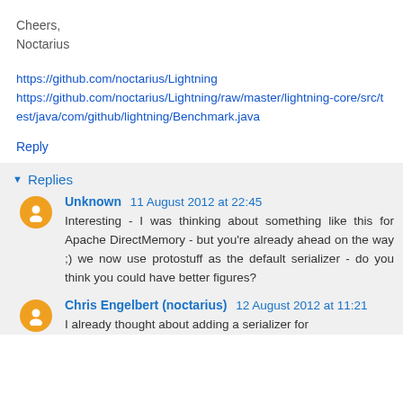Cheers,
Noctarius
https://github.com/noctarius/Lightning
https://github.com/noctarius/Lightning/raw/master/lightning-core/src/test/java/com/github/lightning/Benchmark.java
Reply
Replies
Unknown  11 August 2012 at 22:45
Interesting - I was thinking about something like this for Apache DirectMemory - but you're already ahead on the way ;) we now use protostuff as the default serializer - do you think you could have better figures?
Chris Engelbert (noctarius)  12 August 2012 at 11:21
I already thought about adding a serializer for